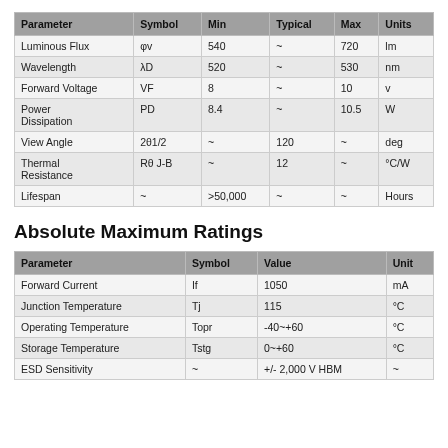| Parameter | Symbol | Min | Typical | Max | Units |
| --- | --- | --- | --- | --- | --- |
| Luminous Flux | φv | 540 | ~ | 720 | lm |
| Wavelength | λD | 520 | ~ | 530 | nm |
| Forward Voltage | VF | 8 | ~ | 10 | v |
| Power Dissipation | PD | 8.4 | ~ | 10.5 | W |
| View Angle | 2θ1/2 | ~ | 120 | ~ | deg |
| Thermal Resistance | Rθ J-B | ~ | 12 | ~ | °C/W |
| Lifespan | ~ | >50,000 | ~ | ~ | Hours |
Absolute Maximum Ratings
| Parameter | Symbol | Value | Unit |
| --- | --- | --- | --- |
| Forward Current | If | 1050 | mA |
| Junction Temperature | Tj | 115 | °C |
| Operating Temperature | Topr | -40~+60 | °C |
| Storage Temperature | Tstg | 0~+60 | °C |
| ESD Sensitivity | ~ | +/- 2,000 V HBM | ~ |